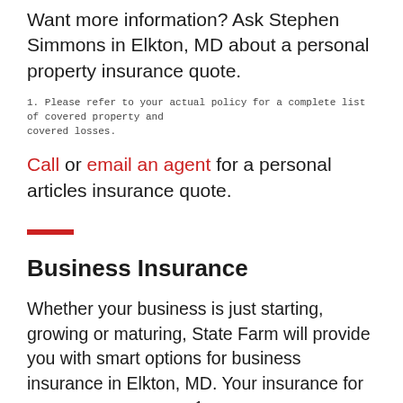Want more information? Ask Stephen Simmons in Elkton, MD about a personal property insurance quote.
1. Please refer to your actual policy for a complete list of covered property and covered losses.
Call or email an agent for a personal articles insurance quote.
Business Insurance
Whether your business is just starting, growing or maturing, State Farm will provide you with smart options for business insurance in Elkton, MD. Your insurance for business may include¹ a business owners policy, commercial auto policy, individual health policy or even workers’ compensation. Like you, our agents are small business owners who know the importance of